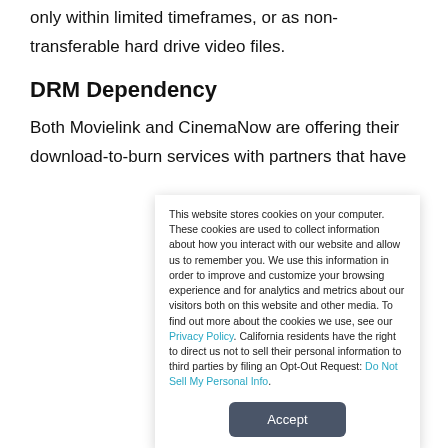only within limited timeframes, or as non-transferable hard drive video files.
DRM Dependency
Both Movielink and CinemaNow are offering their download-to-burn services with partners that have helped them lock down the content for a single DVD burn — also known as a “sterile burn” — via the use of digital rights management (DRM)
This website stores cookies on your computer. These cookies are used to collect information about how you interact with our website and allow us to remember you. We use this information in order to improve and customize your browsing experience and for analytics and metrics about our visitors both on this website and other media. To find out more about the cookies we use, see our Privacy Policy. California residents have the right to direct us not to sell their personal information to third parties by filing an Opt-Out Request: Do Not Sell My Personal Info.